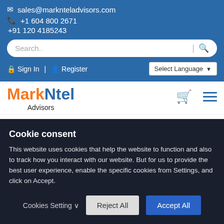sales@marknteladvisors.com  +1 604 800 2671  +91 120 4185243
Sign In  |  Register  Select Language
[Figure (logo): MarkNtel Advisors logo with orange 'Mark', blue 'Ntel', and black 'Advisors' text]
Company Profiles
Cookie consent
This website uses cookies that help the website to function and also to track how you interact with our website. But for us to provide the best user experience, enable the specific cookies from Settings, and click on Accept.
Cookies Setting  Reject All  Accept All